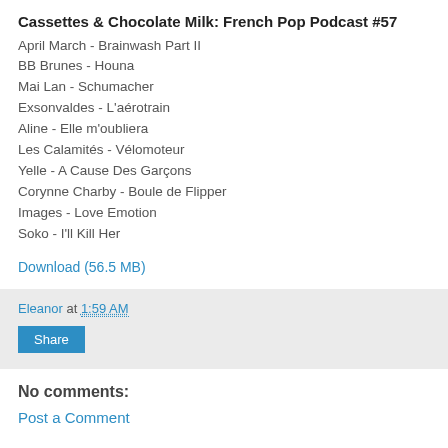Cassettes & Chocolate Milk: French Pop Podcast #57
April March - Brainwash Part II
BB Brunes - Houna
Mai Lan - Schumacher
Exsonvaldes - L'aérotrain
Aline - Elle m'oubliera
Les Calamités - Vélomoteur
Yelle - A Cause Des Garçons
Corynne Charby - Boule de Flipper
Images - Love Emotion
Soko - I'll Kill Her
Download (56.5 MB)
Eleanor at 1:59 AM
Share
No comments:
Post a Comment